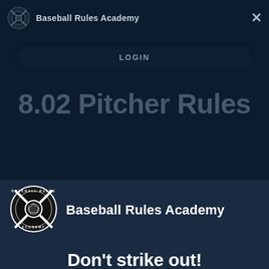Baseball Rules Academy
LOGIN
8.02 Pitcher Rules
[Figure (logo): Baseball Rules Academy circular badge logo with crossed bats and baseball]
Baseball Rules Academy
Don't strike out!